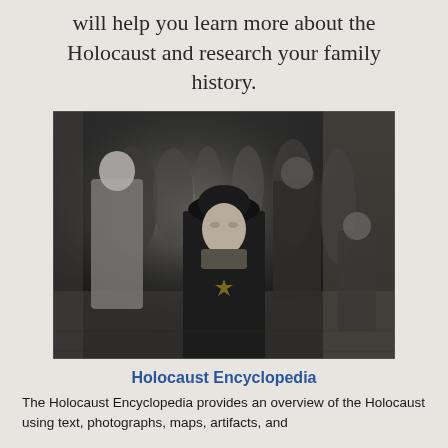will help you learn more about the Holocaust and research your family history.
[Figure (photo): Black and white photograph of people walking on a city street, with a woman in a dark coat and hat prominently in the foreground, circa 1940s wartime Europe.]
Holocaust Encyclopedia
The Holocaust Encyclopedia provides an overview of the Holocaust using text, photographs, maps, artifacts, and